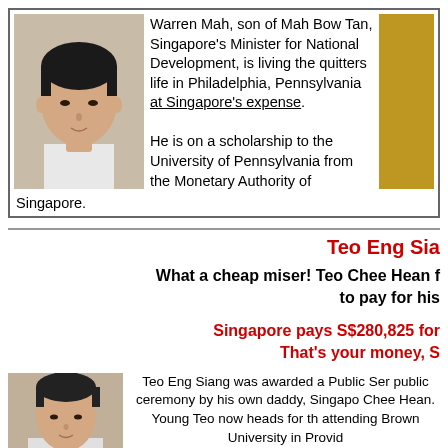[Figure (photo): Photo of Warren Mah (young Asian male, passport-style photo) alongside a second partial photo on the right (golden/amber tones, cropped)]
Warren Mah, son of Mah Bow Tan, Singapore's Minister for National Development, is living the quitters life in Philadelphia, Pennsylvania at Singapore's expense. He is on a scholarship to the University of Pennsylvania from the Monetary Authority of Singapore.
Teo Eng Sia
What a cheap miser! Teo Chee Hean f to pay for his
Singapore pays S$280,825 for That's your money, S
[Figure (photo): Partial photo of Teo Eng Siang (young Asian male, head and shoulders)]
Teo Eng Siang was awarded a Public Ser public ceremony by his own daddy, Singapo Chee Hean. Young Teo now heads for th attending Brown University in Provid